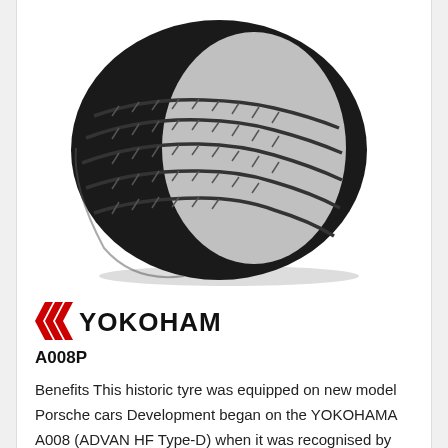[Figure (photo): Black and white photo of a Yokohama A008P performance tyre with visible tread pattern and alloy wheel rim]
[Figure (logo): Yokohama logo with red chevron arrow marks on the left and bold black YOKOHAMA text]
A008P
Benefits This historic tyre was equipped on new model Porsche cars Development began on the YOKOHAMA A008 (ADVAN HF Type-D) when it was recognised by